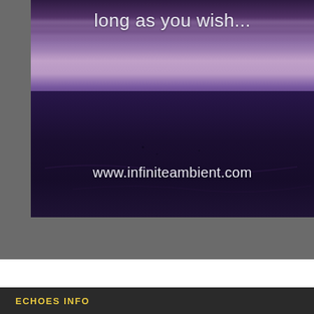[Figure (photo): Atmospheric landscape photo with purple/violet twilight sky with streaking clouds above a dark flat desert or salt flat ground. Text overlay reads 'long as you wish...' at top and 'www.infiniteambient.com' near bottom. Image is framed by a grey border.]
ECHOES INFO